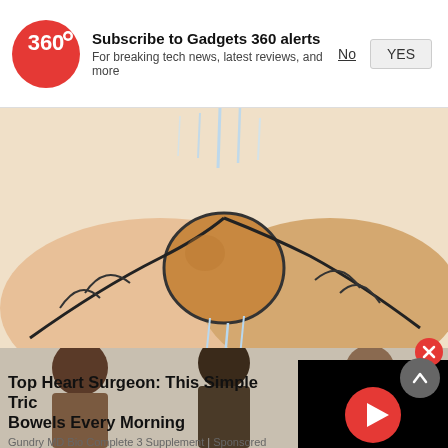[Figure (screenshot): Gadgets 360 subscription notification bar with logo, title, subtitle, No and YES buttons]
[Figure (illustration): Cartoon illustration of hands squeezing a ball under running water]
Top Heart Surgeon: This Simple Tric Bowels Every Morning
Gundry MD Bio Complete 3 Supplement | Sponsored
[Figure (screenshot): Black video thumbnail with red play button]
[Figure (photo): Partial photo of people at the bottom of the page]